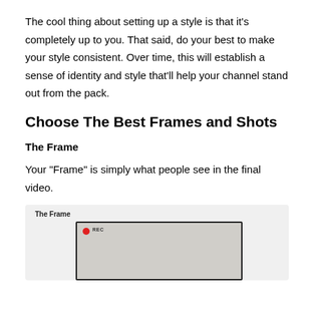The cool thing about setting up a style is that it's completely up to you. That said, do your best to make your style consistent. Over time, this will establish a sense of identity and style that'll help your channel stand out from the pack.
Choose The Best Frames and Shots
The Frame
Your “Frame” is simply what people see in the final video.
[Figure (screenshot): A screenshot illustration labeled 'The Frame' showing a video recording interface with a REC indicator (red dot) and a person visible in the frame.]